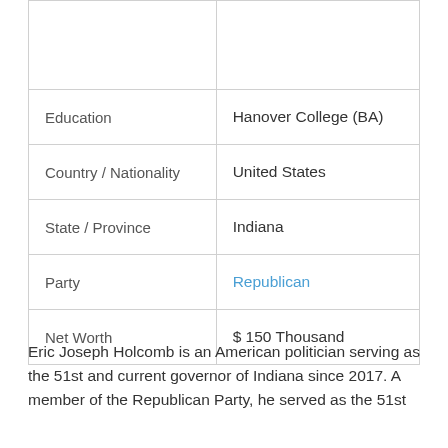| Field | Value |
| --- | --- |
|  |  |
| Education | Hanover College (BA) |
| Country / Nationality | United States |
| State / Province | Indiana |
| Party | Republican |
| Net Worth | $ 150 Thousand |
Eric Joseph Holcomb is an American politician serving as the 51st and current governor of Indiana since 2017. A member of the Republican Party, he served as the 51st